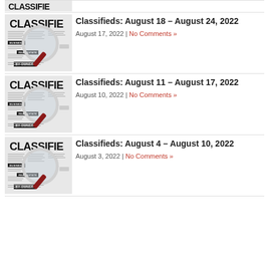[Figure (photo): Partial newspaper classifieds page with magnifying glass, top stub only visible]
Classifieds: August 18 – August 24, 2022
August 17, 2022 | No Comments »
[Figure (photo): Newspaper classifieds page with magnifying glass and red handle]
Classifieds: August 11 – August 17, 2022
August 10, 2022 | No Comments »
[Figure (photo): Newspaper classifieds page with magnifying glass and red handle]
Classifieds: August 4 – August 10, 2022
August 3, 2022 | No Comments »